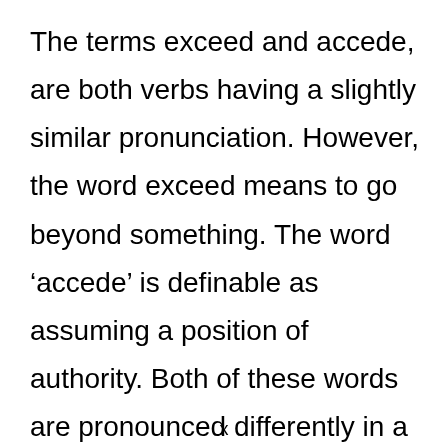The terms exceed and accede, are both verbs having a slightly similar pronunciation. However, the word exceed means to go beyond something. The word ‘accede’ is definable as assuming a position of authority. Both of these words are pronounced differently in a phonetic way. When spoken daily, the terms tend to be pronounceable a bit similar.
x